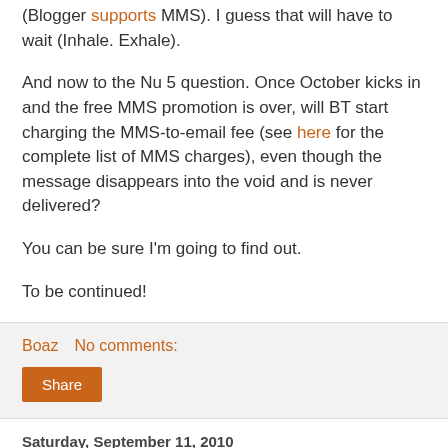(Blogger supports MMS). I guess that will have to wait (Inhale. Exhale).
And now to the Nu 5 question. Once October kicks in and the free MMS promotion is over, will BT start charging the MMS-to-email fee (see here for the complete list of MMS charges), even though the message disappears into the void and is never delivered?
You can be sure I'm going to find out.
To be continued!
Boaz   No comments:
Share
Saturday, September 11, 2010
Bok choy
As a vegetarian, it is always a joy for me to find new types of